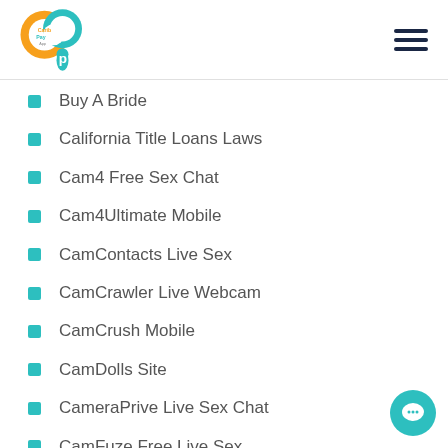Carib Pay App
Buy A Bride
California Title Loans Laws
Cam4 Free Sex Chat
Cam4Ultimate Mobile
CamContacts Live Sex
CamCrawler Live Webcam
CamCrush Mobile
CamDolls Site
CameraPrive Live Sex Chat
CamFuze Free Live Sex
CamHub Hot Cam Show